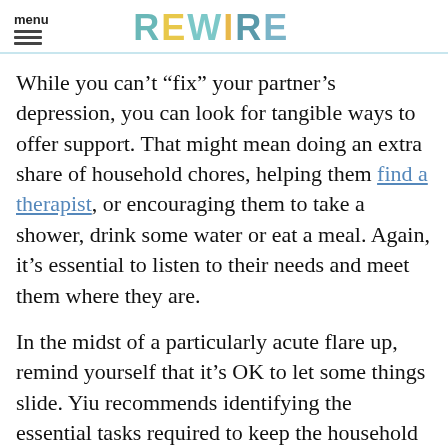menu | REWIRE
While you can't “fix” your partner’s depression, you can look for tangible ways to offer support. That might mean doing an extra share of household chores, helping them find a therapist, or encouraging them to take a shower, drink some water or eat a meal. Again, it’s essential to listen to their needs and meet them where they are.
In the midst of a particularly acute flare up, remind yourself that it’s OK to let some things slide. Yiu recommends identifying the essential tasks required to keep the household running.